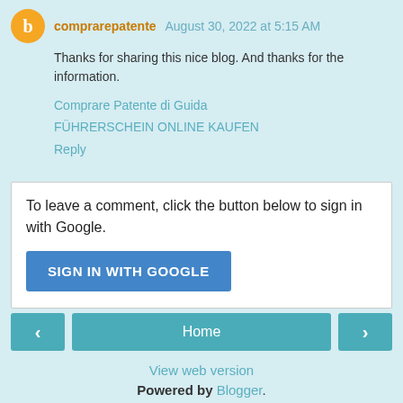comprarepatente  August 30, 2022 at 5:15 AM
Thanks for sharing this nice blog. And thanks for the information.
Comprare Patente di Guida
FÜHRERSCHEIN ONLINE KAUFEN
Reply
To leave a comment, click the button below to sign in with Google.
SIGN IN WITH GOOGLE
Home
View web version
Powered by Blogger.